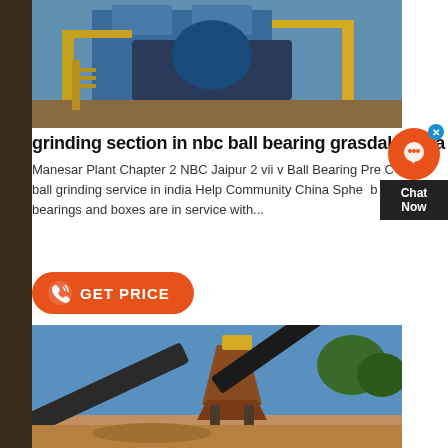[Figure (photo): Industrial machinery with blue and yellow structure, appears to be a ball bearing or grinding plant facility]
grinding section in nbc ball bearing grasdak co za
Manesar Plant Chapter 2 NBC Jaipur 2 vii v Ball Bearing Pre C ball grinding service in india Help Community China Sphe b bearings and boxes are in service with...
[Figure (infographic): Orange GET PRICE button with phone/call icon]
[Figure (photo): Mining or crushing plant with conveyor belts and cone crusher under blue sky with trees]